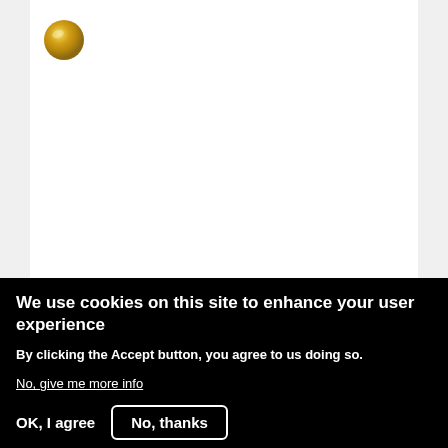[Figure (logo): Gold/yellow metallic circle logo in top-left of white content card]
THE ARROGANT COFFEE CUP
A coffee cup gets stuck on the floor.
Short  Comedy  Available for Free  3pp
We use cookies on this site to enhance your user experience
By clicking the Accept button, you agree to us doing so.
No, give me more info
OK, I agree
No, thanks